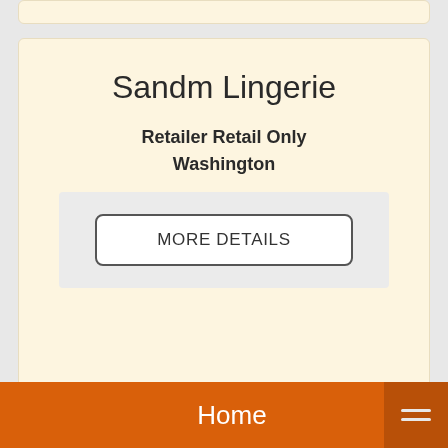Sandm Lingerie
Retailer Retail Only
Washington
MORE DETAILS
Sandown And Bourne
Wholesaler Wholesale Only
Scottsdale
Home